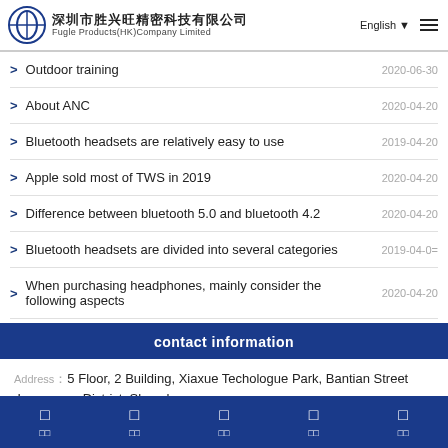深圳市胜兴旺精密科技有限公司 Fugle Products(HK)Company Limited | English
Outdoor training | 2020-06-30
About ANC | 2020-04-20
Bluetooth headsets are relatively easy to use | 2019-04-20
Apple sold most of TWS in 2019 | 2020-04-20
Difference between bluetooth 5.0 and bluetooth 4.2 | 2020-04-20
Bluetooth headsets are divided into several categories | 2019-04-0=
When purchasing headphones, mainly consider the following aspects | 2020-04-20
contact information
Address：5 Floor, 2 Building, Xiaxue Techologue Park, Bantian Street ,Long gang District ,Shenzhen
Tel：0755-28227981
□ □ □ □ □